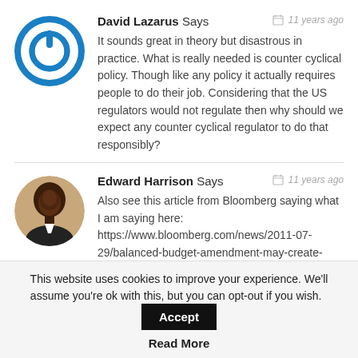David Lazarus Says  — 11 years ago
It sounds great in theory but disastrous in practice. What is really needed is counter cyclical policy. Though like any policy it actually requires people to do their job. Considering that the US regulators would not regulate then why should we expect any counter cyclical regulator to do that responsibly?
Edward Harrison Says  — 11 years ago
Also see this article from Bloomberg saying what I am saying here:
https://www.bloomberg.com/news/2011-07-29/balanced-budget-amendment-may-create-more-
This website uses cookies to improve your experience. We'll assume you're ok with this, but you can opt-out if you wish.
Accept
Read More